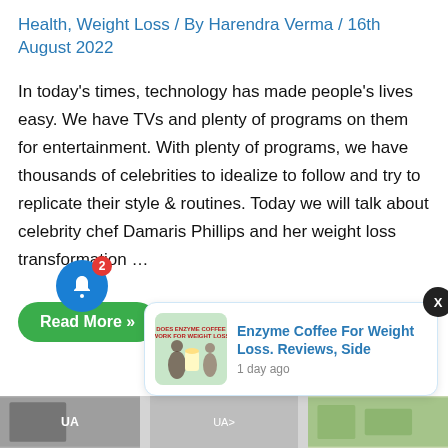Health, Weight Loss / By Harendra Verma / 16th August 2022
In today's times, technology has made people's lives easy. We have TVs and plenty of programs on them for entertainment. With plenty of programs, we have thousands of celebrities to idealize to follow and try to replicate their style & routines. Today we will talk about celebrity chef Damaris Phillips and her weight loss transformation …
Read More »
[Figure (other): Notification bell icon with badge showing 2 notifications]
[Figure (other): Popup card showing article: Enzyme Coffee For Weight Loss. Reviews, Side — 1 day ago]
[Figure (photo): Three partial article thumbnail images at the bottom of the page]